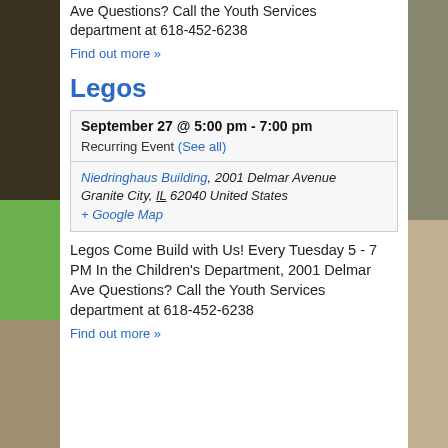Ave Questions? Call the Youth Services department at 618-452-6238
Find out more »
Legos
| September 27 @ 5:00 pm - 7:00 pm |
| Recurring Event (See all) |
| Niedringhaus Building, 2001 Delmar Avenue Granite City, IL 62040 United States |
| + Google Map |
Legos Come Build with Us! Every Tuesday 5 - 7 PM In the Children's Department, 2001 Delmar Ave Questions? Call the Youth Services department at 618-452-6238
Find out more »